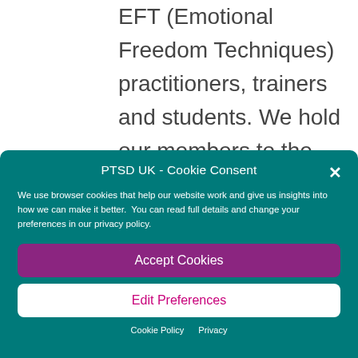EFT (Emotional Freedom Techniques) practitioners, trainers and students. We hold our members to the highest standards of EFT practice, and all must engage in annual professional development activities, undergo
PTSD UK - Cookie Consent
We use browser cookies that help our website work and give us insights into how we can make it better. You can read full details and change your preferences in our privacy policy.
Accept Cookies
Edit Preferences
Cookie Policy   Privacy